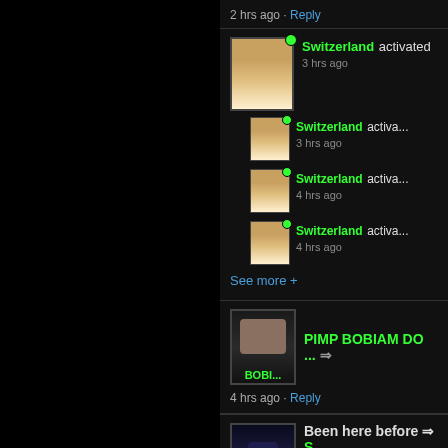2 hrs ago · Reply
Switzerland activated
3 hrs ago
Switzerland activa...
3 hrs ago
Switzerland activa...
4 hrs ago
Switzerland activa...
4 hrs ago
See more +
PIMP BOBIAM DO ... ⇒
4 hrs ago · Reply
Been here before ⇒ S
whats new.?